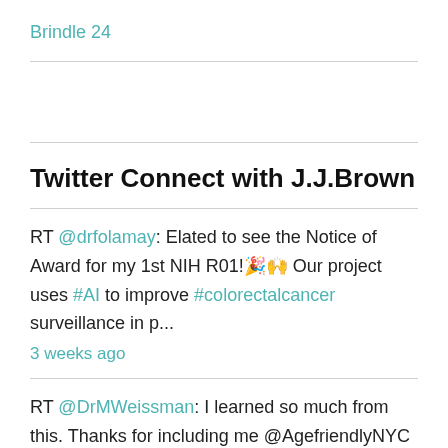Brindle 24
Twitter Connect with J.J.Brown
RT @drfolamay: Elated to see the Notice of Award for my 1st NIH R01!🎉🙌 Our project uses #AI to improve #colorectalcancer surveillance in p...
3 weeks ago
RT @DrMWeissman: I learned so much from this. Thanks for including me @AgefriendlyNYC